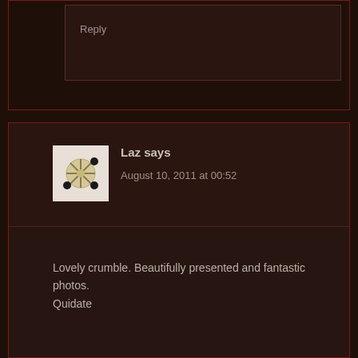Reply
Laz says
August 10, 2011 at 00:52
Lovely crumble. Beautifully presented and fantastic photos.
Quidate